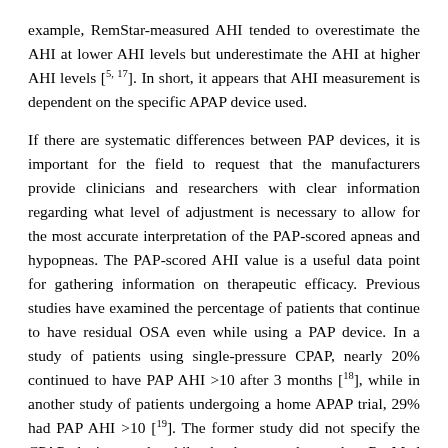example, RemStar-measured AHI tended to overestimate the AHI at lower AHI levels but underestimate the AHI at higher AHI levels [5, 17]. In short, it appears that AHI measurement is dependent on the specific APAP device used.
If there are systematic differences between PAP devices, it is important for the field to request that the manufacturers provide clinicians and researchers with clear information regarding what level of adjustment is necessary to allow for the most accurate interpretation of the PAP-scored apneas and hypopneas. The PAP-scored AHI value is a useful data point for gathering information on therapeutic efficacy. Previous studies have examined the percentage of patients that continue to have residual OSA even while using a PAP device. In a study of patients using single-pressure CPAP, nearly 20% continued to have PAP AHI >10 after 3 months [18], while in another study of patients undergoing a home APAP trial, 29% had PAP AHI >10 [19]. The former study did not specify the CPAP device used, while the latter study used a ResMed AutoSet Spirit. Given the